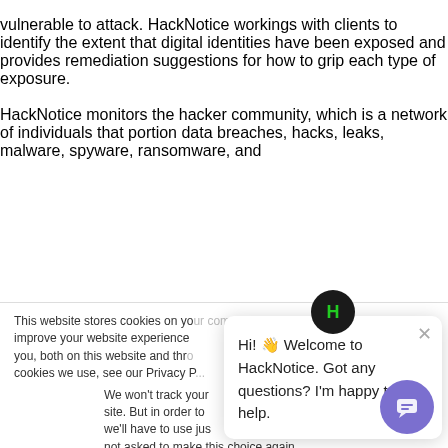vulnerable to attack. HackNotice workings with clients to identify the extent that digital identities have been exposed and provides remediation suggestions for how to grip each type of exposure.
HackNotice monitors the hacker community, which is a network of individuals that portion data breaches, hacks, leaks, malware, spyware, ransomware, and
This website stores cookies on your computer. These are used to improve your website experience you, both on this website and through cookies we use, see our Privacy P
We won't track your site. But in order to we'll have to use jus not asked to make this choice again.
Hi! 👋 Welcome to HackNotice. Got any questions? I'm happy to help.